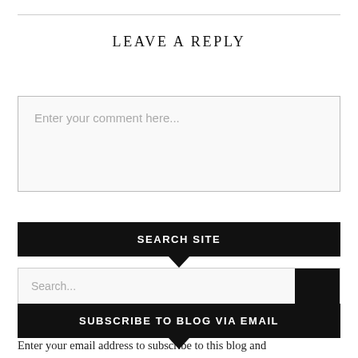LEAVE A REPLY
Enter your comment here...
SEARCH SITE
Search...
SUBSCRIBE TO BLOG VIA EMAIL
Enter your email address to subscribe to this blog and